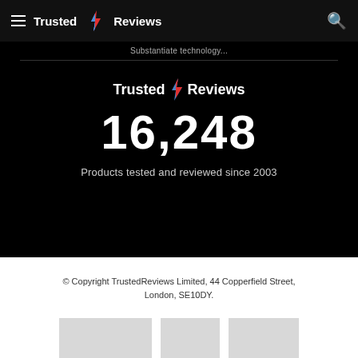Trusted Reviews
Substantiate technology...
[Figure (logo): Trusted Reviews logo with lightning bolt icon]
16,248
Products tested and reviewed since 2003
© Copyright TrustedReviews Limited, 44 Copperfield Street, London, SE10DY.
[Figure (other): Three placeholder image boxes (grey rectangles)]